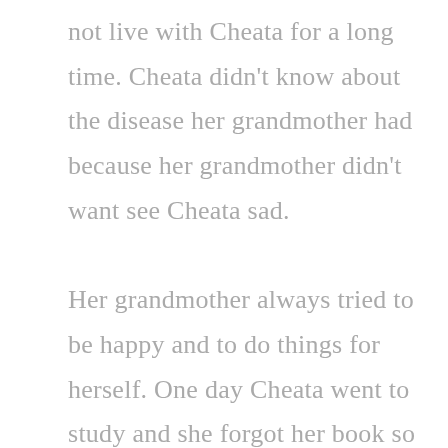not live with Cheata for a long time. Cheata didn't know about the disease her grandmother had because her grandmother didn't want see Cheata sad.

Her grandmother always tried to be happy and to do things for herself. One day Cheata went to study and she forgot her book so she came back home. When she arrived, she saw a lot of people because her grandmother was severely sick. Cheata cried and asked, “What happened with my grandmother?” She hugged and cried with her grandmother. At her last breath, her grandmother told Cheata that, “I